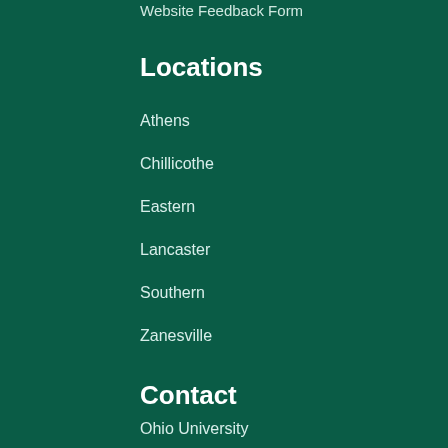Website Feedback Form
Locations
Athens
Chillicothe
Eastern
Lancaster
Southern
Zanesville
Contact
Ohio University
1 Ohio University